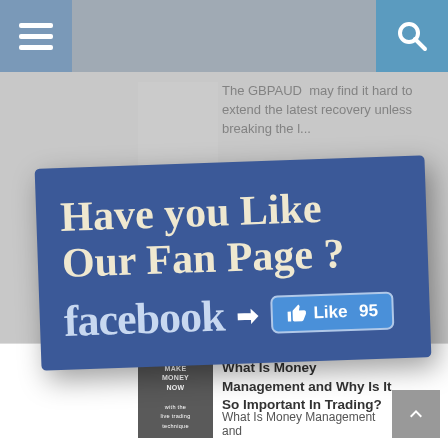[Figure (screenshot): Website screenshot showing a navigation bar with hamburger menu and search icon at top, a faded forex article about GBPAUD in background, a prominent Facebook fan page promotional banner in blue with text 'Have you Like Our Fan Page? facebook Like 95', and a bottom article about Money Management in trading.]
The GBPAUD  may find it hard to extend the latest recovery unless breaking the l...
Week of July 27 - Augus... | High Impact News Calendar
Have you Like Our Fan Page ?
facebook → Like 95
What Is Money Management and Why Is It So Important In Trading?
What Is Money Management and